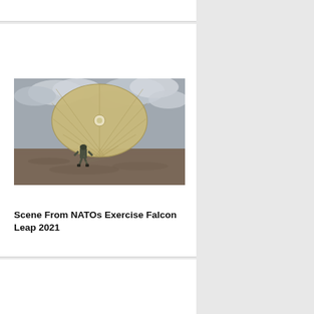[Figure (photo): A soldier landing with a large tan/olive parachute deployed, in a field under a cloudy sky. NATO Exercise Falcon Leap 2021.]
Scene From NATOs Exercise Falcon Leap 2021
9 Images • 23 Sep 2021